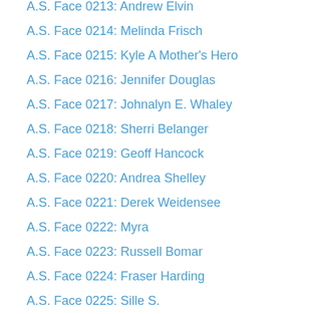A.S. Face 0213: Andrew Elvin
A.S. Face 0214: Melinda Frisch
A.S. Face 0215: Kyle A Mother's Hero
A.S. Face 0216: Jennifer Douglas
A.S. Face 0217: Johnalyn E. Whaley
A.S. Face 0218: Sherri Belanger
A.S. Face 0219: Geoff Hancock
A.S. Face 0220: Andrea Shelley
A.S. Face 0221: Derek Weidensee
A.S. Face 0222: Myra
A.S. Face 0223: Russell Bomar
A.S. Face 0224: Fraser Harding
A.S. Face 0225: Sille S.
A.S. Face 0226: Jenni Gizowski
A.S. Face 0227: Vince Yu
A.S. Face 0228: Jo Gilmour
A.S. Face 0229: Debby
A.S. Face 0230: Graham
A.S. Face 0231: Jane Sandford
A.S. Face 0232: Mathew Woodhead